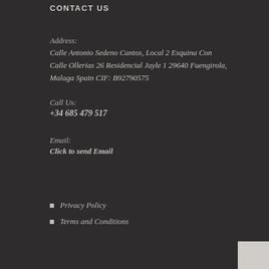CONTACT US
Address:
Calle Antonio Sedeno Cantos, Local 2 Esquina Con Calle Ollerias 26 Residencial Jayle 1 29640 Fuengirola, Malaga Spain CIF: B92790575
Call Us:
+34 685 479 517
Email:
Click to send Email
Privacy Policy
Terms and Conditions